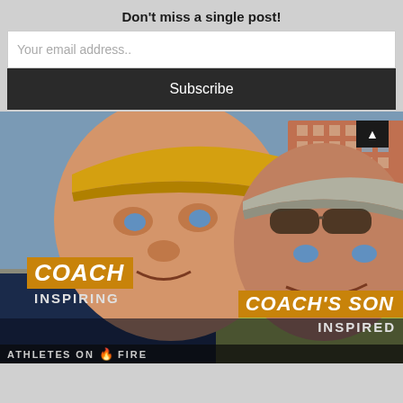Don't miss a single post!
Your email address..
Subscribe
[Figure (photo): Two men smiling outdoors on a rooftop or balcony with a city and waterfront background. Left man wears a yellow visor cap; right man wears a grey visor cap with sunglasses. Overlaid labels: 'COACH INSPIRING' (left) and 'COACH'S SON INSPIRED' (right) in orange and white text on orange/dark backgrounds. Bottom shows partial 'ATHLETES ON FIRE' brand text.]